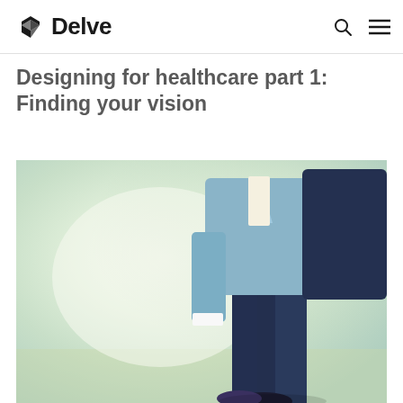Delve
Designing for healthcare part 1: Finding your vision
[Figure (photo): A person in business attire (light blue blazer and dark trousers) captured from roughly waist-down, walking or in motion outdoors with a bright, light-green blurred background.]